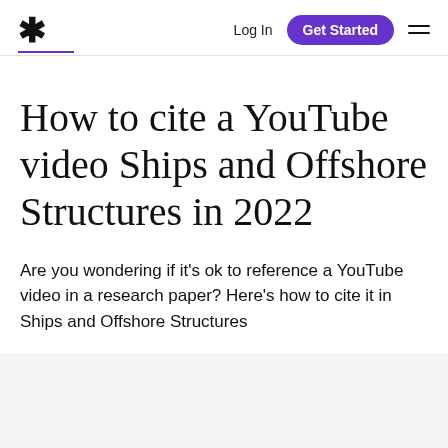* Log In Get Started
How to cite a YouTube video Ships and Offshore Structures in 2022
Are you wondering if it’s ok to reference a YouTube video in a research paper? Here’s how to cite it in Ships and Offshore Structures